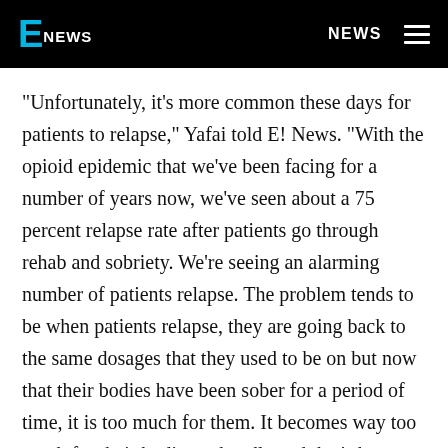E! NEWS   NEWS
"Unfortunately, it's more common these days for patients to relapse," Yafai told E! News. "With the opioid epidemic that we've been facing for a number of years now, we've seen about a 75 percent relapse rate after patients go through rehab and sobriety. We're seeing an alarming number of patients relapse. The problem tends to be when patients relapse, they are going back to the same dosages that they used to be on but now that their bodies have been sober for a period of time, it is too much for them. It becomes way too much for their bodies to handle and that's how we see a lot of overdoses